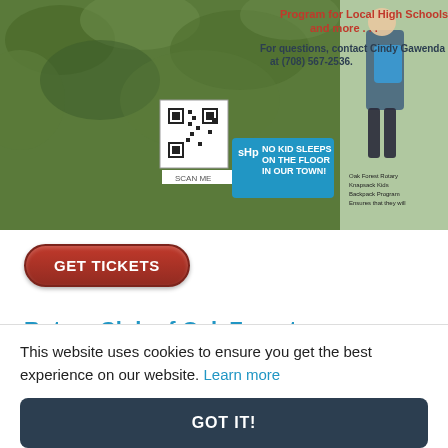[Figure (screenshot): Screenshot of a webpage showing an ad for Sleep in Heavenly Peace with a QR code, blue banner 'NO KID SLEEPS ON THE FLOOR IN OUR TOWN!', logo, and child with backpack; also shows GET TICKETS button, Rotary Club of Oak Forest Scholarship Winners heading, photo strip of scholarship winners, and a cookie consent banner.]
GET TICKETS
Rotary Club of Oak Forest Scholarship Winners
[Figure (photo): Strip of four photos showing scholarship winners standing in front of signage.]
This website uses cookies to ensure you get the best experience on our website. Learn more
GOT IT!